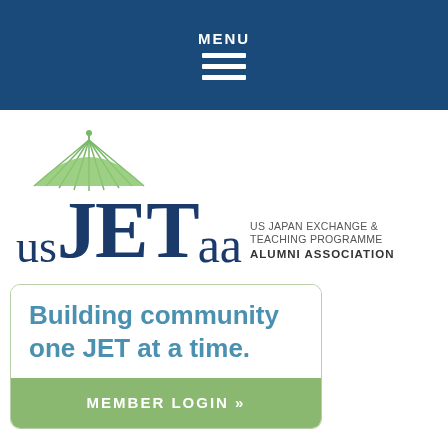MENU
[Figure (logo): USJETAA logo with green umbrella above the text US JET AA and tagline US JAPAN EXCHANGE & TEACHING PROGRAMME ALUMNI ASSOCIATION]
Building community one JET at a time.
MEMBER LOGIN »
Account Manager,